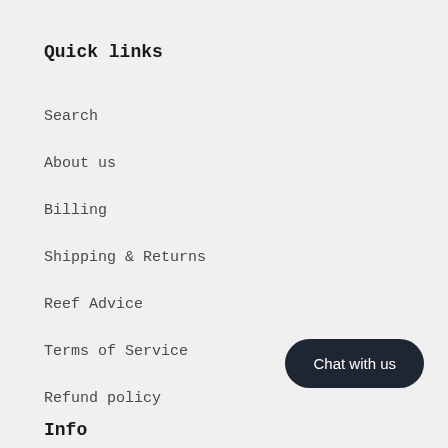Quick links
Search
About us
Billing
Shipping & Returns
Reef Advice
Terms of Service
Refund policy
Chat with us
Info